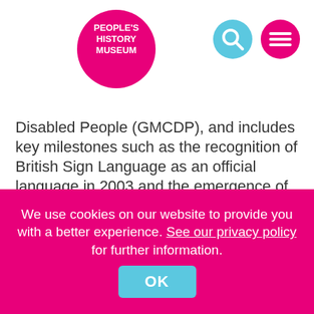[Figure (logo): People's History Museum pink circle logo with white text]
[Figure (other): Blue circle with white search/magnifying glass icon]
[Figure (other): Pink circle with white hamburger menu icon]
Disabled People (GMCDP), and includes key milestones such as the recognition of British Sign Language as an official language in 2003 and the emergence of neurodiversity as a concept in 1996.
Oral recordings by disabled activists provide an insight into their experiences from protesting on the streets to campaigning from their living rooms.
This is also a very visual exhibition with banners, placards and other materials that have played an
We use cookies on our website to provide you with a better experience. See our privacy policy for further information.